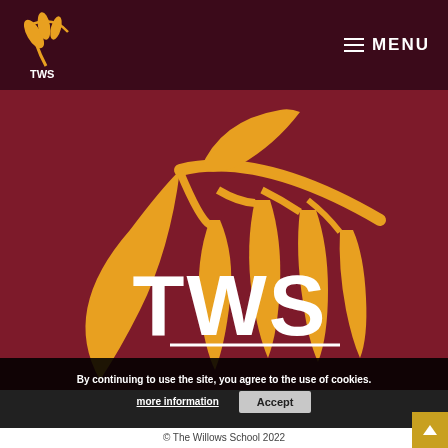TWS | MENU
[Figure (logo): The Willows School (TWS) logo — large orange willow leaf/branch illustration on dark red background with white 'TWS' text below]
By continuing to use the site, you agree to the use of cookies.
more information
Accept
© The Willows School 2022